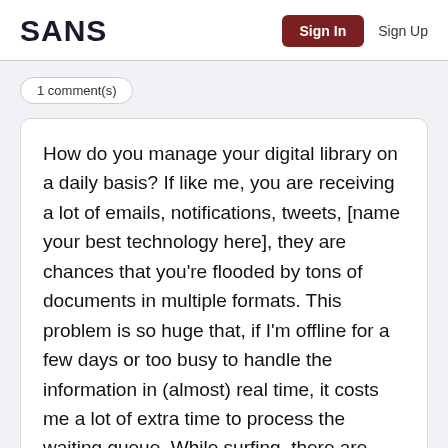SANS  Sign In  Sign Up
1 comment(s)
How do you manage your digital library on a daily basis? If like me, you are receiving a lot of emails, notifications, tweets, [name your best technology here], they are chances that you're flooded by tons of documents in multiple formats. This problem is so huge that, if I'm offline for a few days or too busy to handle the information in (almost) real time, it costs me a lot of extra time to process the waiting queue. While surfing, there are also a lot of documents that are not